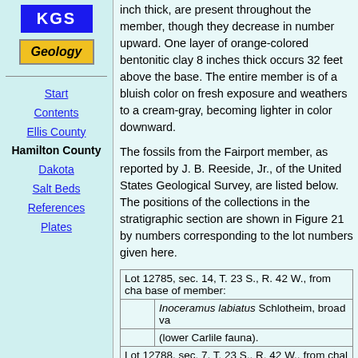[Figure (logo): KGS blue logo box]
[Figure (logo): Geology yellow italic button]
Start
Contents
Ellis County
Hamilton County (bold, current)
Dakota
Salt Beds
References
Plates
inch thick, are present throughout the member, though they decrease in number upward. One layer of orange-colored bentonitic clay 8 inches thick occurs 32 feet above the base. The entire member is of a bluish color on fresh exposure and weathers to a cream-gray, becoming lighter in color downward.
The fossils from the Fairport member, as reported by J. B. Reeside, Jr., of the United States Geological Survey, are listed below. The positions of the collections in the stratigraphic section are shown in Figure 21 by numbers corresponding to the lot numbers given here.
| Lot 12785, sec. 14, T. 23 S., R. 42 W., from cha... base of member: |
|  | Inoceramus labiatus Schlotheim, broad va... |
|  | (lower Carlile fauna). |
| Lot 12788, sec. 7, T. 23 S., R. 42 W., from chal... of member: |
|  | Inoceramus labiatus Schlotheim, broad... |